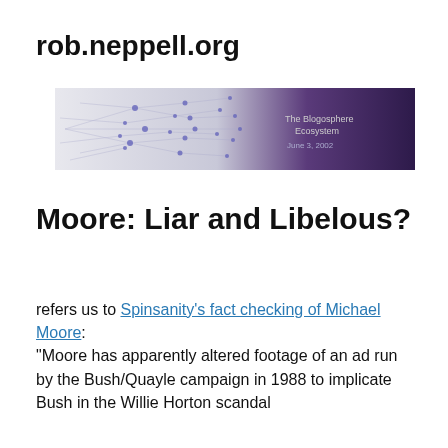rob.neppell.org
[Figure (screenshot): Website banner image showing a network/web diagram in white on the left transitioning to a dark purple background on the right, with small text reading 'The Blogosphere Ecosystem' and 'June 3, 2002']
Moore: Liar and Libelous?
refers us to Spinsanity's fact checking of Michael Moore: "Moore has apparently altered footage of an ad run by the Bush/Quayle campaign in 1988 to implicate Bush in the Willie Horton scandal